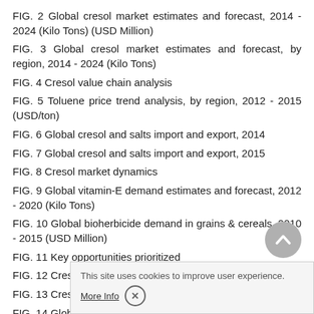FIG. 2 Global cresol market estimates and forecast, 2014 - 2024 (Kilo Tons) (USD Million)
FIG. 3 Global cresol market estimates and forecast, by region, 2014 - 2024 (Kilo Tons)
FIG. 4 Cresol value chain analysis
FIG. 5 Toluene price trend analysis, by region, 2012 - 2015 (USD/ton)
FIG. 6 Global cresol and salts import and export, 2014
FIG. 7 Global cresol and salts import and export, 2015
FIG. 8 Cresol market dynamics
FIG. 9 Global vitamin-E demand estimates and forecast, 2012 - 2020 (Kilo Tons)
FIG. 10 Global bioherbicide demand in grains & cereals, 2010 - 2015 (USD Million)
FIG. 11 Key opportunities prioritized
FIG. 12 Cresol - Porter's analysis
FIG. 13 Cresol - PESTEL analysis
FIG. 14 Global cresols market share, by region, 2015 & 2024